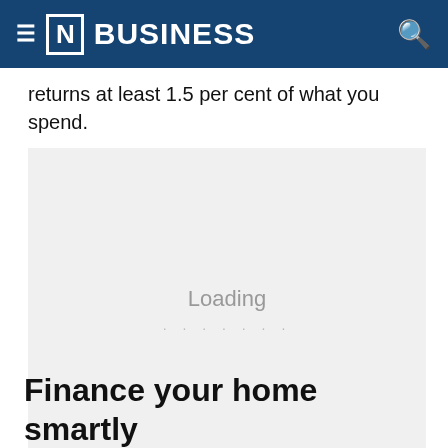[N] BUSINESS
returns at least 1.5 per cent of what you spend.
[Figure (other): Loading placeholder box with 'Loading' text and dots, grey background]
Finance your home smartly